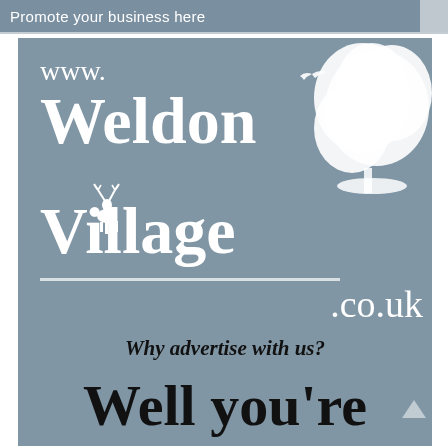Promote your business here
[Figure (logo): www.WeldonVillage.co.uk logo on a grey-blue background with a tree silhouette, bird, and deer illustration]
Why advertise with us?
Well you're